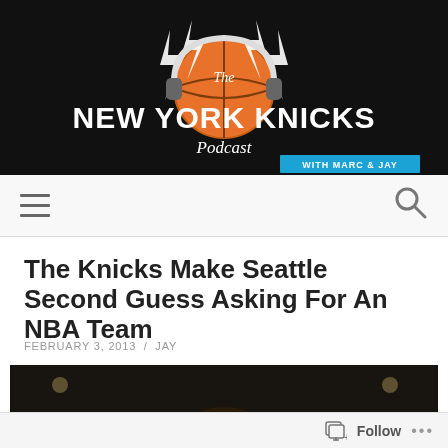The New York Knicks Podcast with Marc & Jay
[Figure (screenshot): Article page from the New York Knicks Podcast website showing navigation bar with hamburger menu and search icon]
The Knicks Make Seattle Second Guess Asking For An NBA Team
FEBRUARY 3, 2013 / JAY
[Figure (photo): A basketball player wearing a blue headband in a dark arena setting]
Follow ...